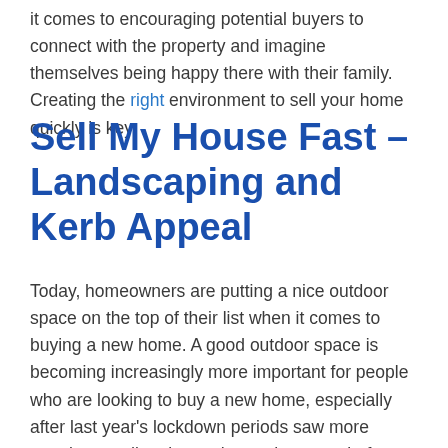it comes to encouraging potential buyers to connect with the property and imagine themselves being happy there with their family. Creating the right environment to sell your home quickly is key.
Sell My House Fast – Landscaping and Kerb Appeal
Today, homeowners are putting a nice outdoor space on the top of their list when it comes to buying a new home. A good outdoor space is becoming increasingly more important for people who are looking to buy a new home, especially after last year's lockdown periods saw more people spending time at home than ever before and realising how much difference a nice outdoor space can make to their mental health and happiness. Chances are that